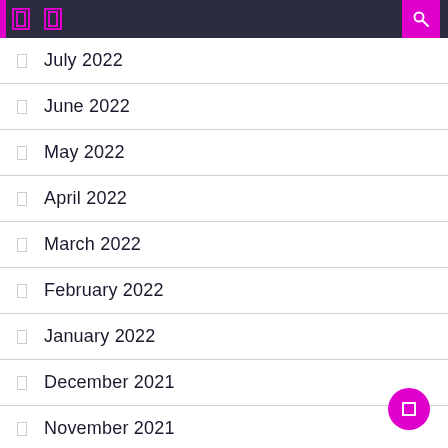Navigation header with icons
July 2022
June 2022
May 2022
April 2022
March 2022
February 2022
January 2022
December 2021
November 2021